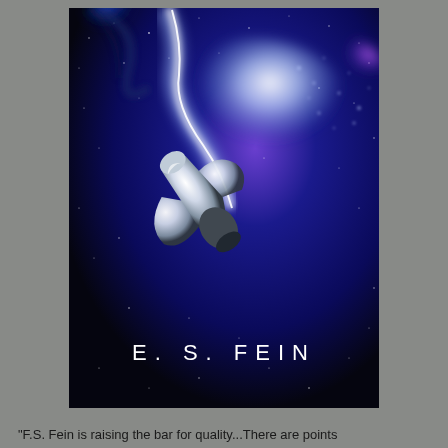[Figure (illustration): Science fiction book cover showing a sleek white spaceship diving through a swirling cosmic nebula with deep blue and purple space background and bright glowing clouds. Author name 'E. S. FEIN' displayed in white spaced lettering at the bottom of the cover.]
"F.S. Fein is raising the bar for quality...There are points